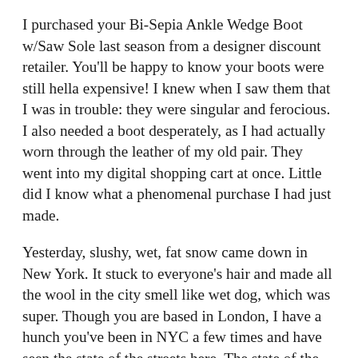I purchased your Bi-Sepia Ankle Wedge Boot w/Saw Sole last season from a designer discount retailer. You'll be happy to know your boots were still hella expensive! I knew when I saw them that I was in trouble: they were singular and ferocious. I also needed a boot desperately, as I had actually worn through the leather of my old pair. They went into my digital shopping cart at once. Little did I know what a phenomenal purchase I had just made.
Yesterday, slushy, wet, fat snow came down in New York. It stuck to everyone's hair and made all the wool in the city smell like wet dog, which was super. Though you are based in London, I have a hunch you've been in NYC a few times and have seen the state of the streets here. The state of the streets is not good, especially at the curb of any intersection in